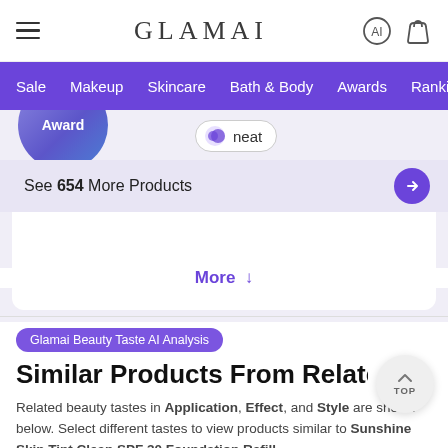GLAMAI
Sale  Makeup  Skincare  Bath & Body  Awards  Rankings
[Figure (screenshot): Partial product card showing Award badge (blue circle) and 'neat' pill/toggle]
See 654 More Products
More ↓
Glamai Beauty Taste AI Analysis
Similar Products From Related Beauty Tastes
Related beauty tastes in Application, Effect, and Style are shown below. Select different tastes to view products similar to Sunshine Skin Tint Clean SPF 30 Foundation Refill.